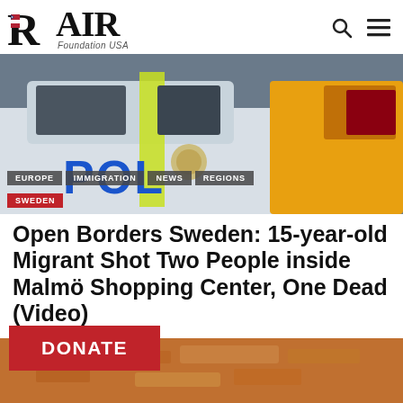[Figure (logo): RAIR Foundation USA logo with stylized R containing US flag colors]
[Figure (photo): Swedish police car (white with 'POL' visible) next to a yellow vehicle, with category tags overlaid: EUROPE, IMMIGRATION, NEWS, REGIONS, SWEDEN]
Open Borders Sweden: 15-year-old Migrant Shot Two People inside Malmö Shopping Center, One Dead (Video)
Amy Mek  August 19, 2022
[Figure (other): Red DONATE button banner and partial bottom image]
DONATE